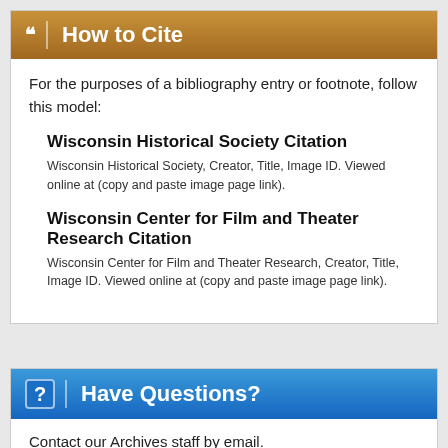How to Cite
For the purposes of a bibliography entry or footnote, follow this model:
Wisconsin Historical Society Citation
Wisconsin Historical Society, Creator, Title, Image ID. Viewed online at (copy and paste image page link).
Wisconsin Center for Film and Theater Research Citation
Wisconsin Center for Film and Theater Research, Creator, Title, Image ID. Viewed online at (copy and paste image page link).
Have Questions?
Contact our Archives staff by email.